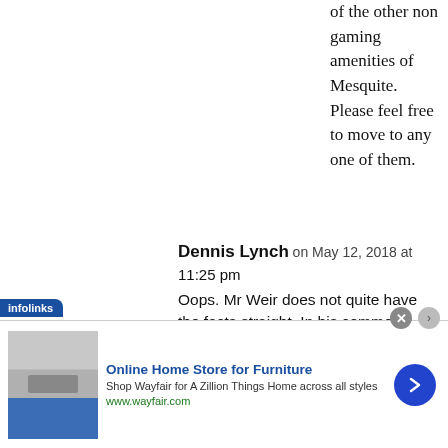of the other non gaming amenities of Mesquite. Please feel free to move to any one of them.
Dennis Lynch on May 12, 2018 at 11:25 pm
Oops. Mr Weir does not quite have the facts straight. In his comments, Mr. Weir references
[Figure (other): Advertisement banner for Wayfair Online Home Store for Furniture with infolinks badge, product image, close button, and arrow navigation button.]